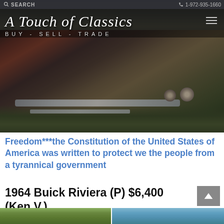SEARCH   1-972-935-1660
[Figure (photo): Classic car (dark maroon/brown) photographed from rear quarter angle, showing tail fin and chrome details, parked in a grassy area. Website header image for A Touch of Classics auto dealer.]
A Touch of Classics
BUY - SELL - TRADE
Freedom***the Constitution of the United States of America was written to protect we the people from a tyrannical government
1964 Buick Riviera (P) $6,400 (Ken V.)
[Figure (photo): Two-panel strip showing outdoor photos of the 1964 Buick Riviera listing, partially visible at bottom of page.]